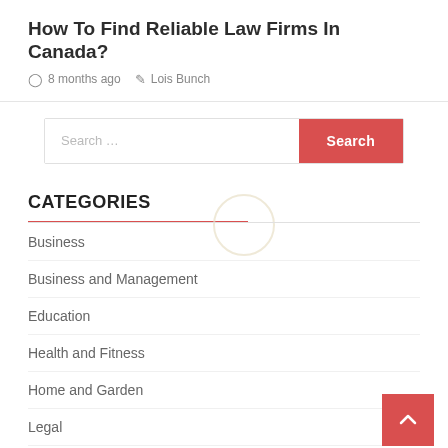How To Find Reliable Law Firms In Canada?
8 months ago   Lois Bunch
Search ...
CATEGORIES
Business
Business and Management
Education
Health and Fitness
Home and Garden
Legal
Marketing and Advertising